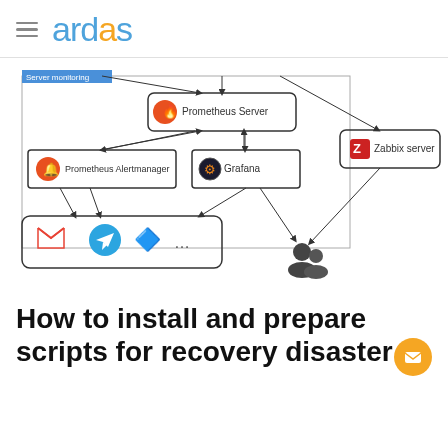ardas
[Figure (flowchart): Server monitoring architecture diagram showing Prometheus Server, Prometheus Alertmanager, Grafana, Zabbix server, notification channels (Gmail, Telegram, Slack, ...) and a user/team icon, connected by arrows indicating data flow.]
How to install and prepare scripts for recovery disaster